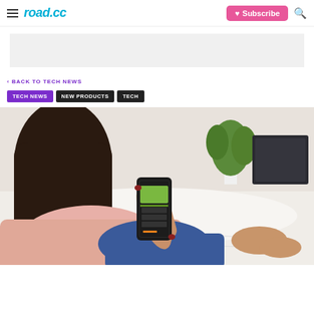road.cc | Subscribe | Search
[Figure (other): Grey advertisement banner placeholder]
< BACK TO TECH NEWS
TECH NEWS | NEW PRODUCTS | TECH
[Figure (photo): Woman sitting on a bed in casual clothes, looking at a smartphone app with green display, with a plant and window in the background]